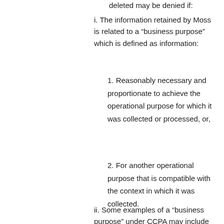deleted may be denied if:
i. The information retained by Moss is related to a “business purpose” which is defined as information:
1. Reasonably necessary and proportionate to achieve the operational purpose for which it was collected or processed, or,
2. For another operational purpose that is compatible with the context in which it was collected.
ii. Some examples of a “business purpose” under CCPA may include